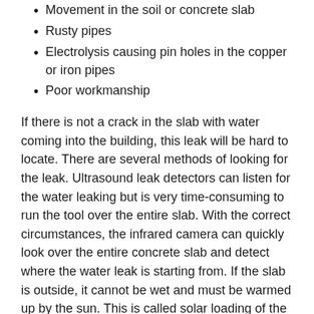Movement in the soil or concrete slab
Rusty pipes
Electrolysis causing pin holes in the copper or iron pipes
Poor workmanship
If there is not a crack in the slab with water coming into the building, this leak will be hard to locate.  There are several methods of looking for the leak.  Ultrasound leak detectors can listen for the water leaking but is very time-consuming to run the tool over the entire slab.  With the correct circumstances, the infrared camera can quickly look over the entire concrete slab and detect where the water leak is starting from.  If the slab is outside, it cannot be wet and must be warmed up by the sun.  This is called solar loading of the concrete.  If the slab is inside the building, the area will need to be warmed up to 10 to 20 degrees above the ground temperature.  In the Willamette Valley the ground temperature is approximately 55 degrees.  This means the room where the leak is suspected should be 65 to 75 degrees.  The warmer the better.  The water leak under the cement will tend to cool the slab where it is